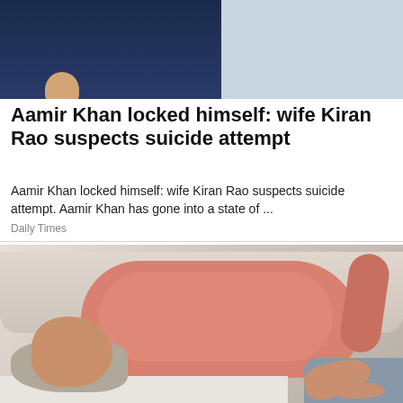[Figure (photo): Top portion of two people sitting together — one in a dark navy shirt on the left, and a person in a white top with teal spots on the right, against a gray background.]
Aamir Khan locked himself: wife Kiran Rao suspects suicide attempt
Aamir Khan locked himself: wife Kiran Rao suspects suicide attempt. Aamir Khan has gone into a state of ...
Daily Times
[Figure (photo): An older bald man wearing a pink/salmon t-shirt lying on a white couch/sofa with a gray pillow under his head, eyes closed, with one hand resting on the sofa. Blue fabric visible at lower right.]